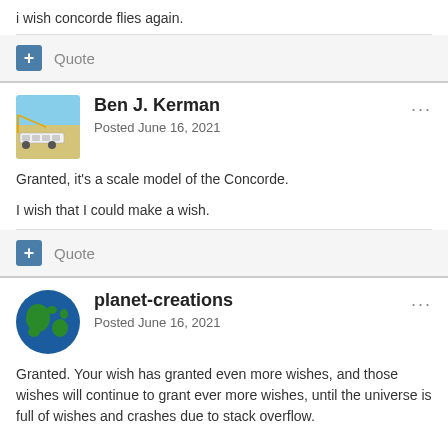i wish concorde flies again.
Quote
Ben J. Kerman
Posted June 16, 2021
Granted, it's a scale model of the Concorde.

I wish that I could make a wish.
Quote
planet-creations
Posted June 16, 2021
Granted. Your wish has granted even more wishes, and those wishes will continue to grant ever more wishes, until the universe is full of wishes and crashes due to stack overflow.